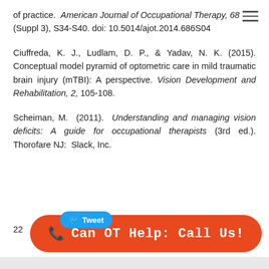of practice. American Journal of Occupational Therapy, 68 (Suppl 3), S34-S40. doi: 10.5014/ajot.2014.686S04
Ciuffreda, K. J., Ludlam, D. P., & Yadav, N. K. (2015). Conceptual model pyramid of optometric care in mild traumatic brain injury (mTBI): A perspective. Vision Development and Rehabilitation, 2, 105-108.
Scheiman, M. (2011). Understanding and managing vision deficits: A guide for occupational therapists (3rd ed.). Thorofare NJ: Slack, Inc.
Tweet
22
Can OT Help: Call Us!